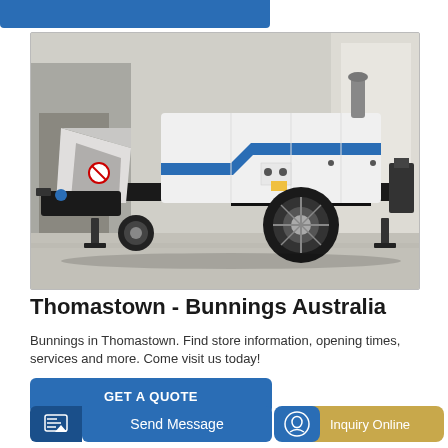[Figure (photo): Concrete pump truck / trailer pump machine, white body with blue stripe markings, parked in front of a building, photographed outdoors on concrete ground.]
Thomastown - Bunnings Australia
Bunnings in Thomastown. Find store information, opening times, services and more. Come visit us today!
GET A QUOTE
Send Message
Inquiry Online